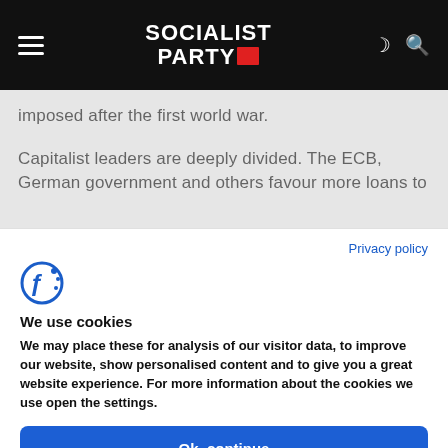Socialist Party
imposed after the first world war.
Capitalist leaders are deeply divided. The ECB, German government and others favour more loans to
Privacy policy
[Figure (logo): Cookiebot logo icon - stylized F with dotted circle]
We use cookies
We may place these for analysis of our visitor data, to improve our website, show personalised content and to give you a great website experience. For more information about the cookies we use open the settings.
Ok, continue
Deny
No, adjust